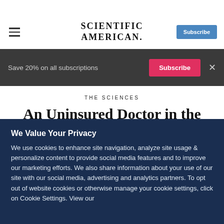SCIENTIFIC AMERICAN
Save 20% on all subscriptions  Subscribe  ×
THE SCIENCES
An Uninsured Doctor in the House
When Steve Kagen became a member of Congress, he declined health insurance coverage. Now he has to provide it for...
We Value Your Privacy
We use cookies to enhance site navigation, analyze site usage & personalize content to provide social media features and to improve our marketing efforts. We also share information about your use of our site with our social media, advertising and analytics partners. To opt out of website cookies or otherwise manage your cookie settings, click on Cookie Settings. View our